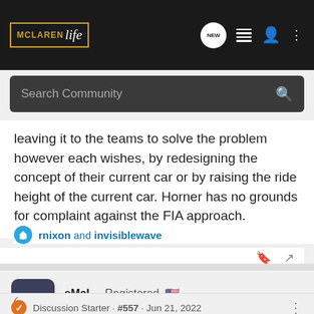McLaren Life · Search Community
leaving it to the teams to solve the problem however each wishes, by redesigning the concept of their current car or by raising the ride height of the current car. Horner has no grounds for complaint against the FIA approach.
rnixon and invisiblewave
eMcL · Registered · Joined Apr 24, 2015 · 7,953 Posts
Discussion Starter · #557 · Jun 21, 2022